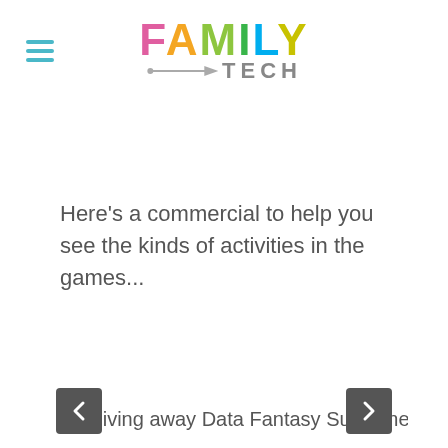FAMILY TECH
Here's a commercial to help you see the kinds of activities in the games...
I'm giving away Data Fantasy Sunshine